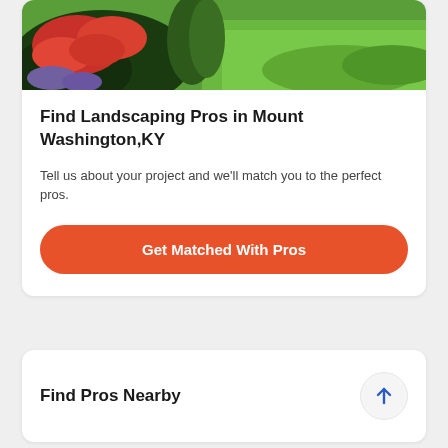[Figure (photo): Landscaping photo showing red flowering bushes and green ornamental grasses on a lawn]
Find Landscaping Pros in Mount Washington,KY
Tell us about your project and we'll match you to the perfect pros.
Get Matched With Pros
Find Pros Nearby